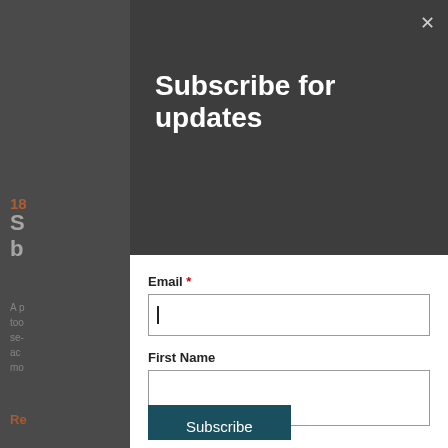Subscribe for updates
Email *
First Name
Post Code
Subscribe